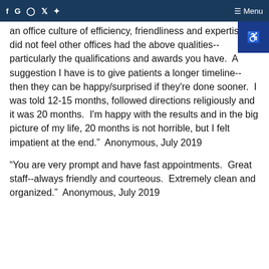f G [instagram] [twitter] [yelp]   ☰ Menu
an office culture of efficiency, friendliness and expertise.  I did not feel other offices had the above qualities--particularly the qualifications and awards you have.  A suggestion I have is to give patients a longer timeline--then they can be happy/surprised if they're done sooner.  I was told 12-15 months, followed directions religiously and it was 20 months.  I'm happy with the results and in the big picture of my life, 20 months is not horrible, but I felt impatient at the end."  Anonymous, July 2019
"You are very prompt and have fast appointments.  Great staff--always friendly and courteous.  Extremely clean and organized."  Anonymous, July 2019